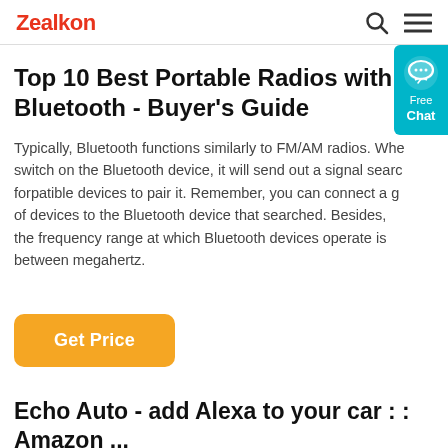Zealkon
Top 10 Best Portable Radios with Bluetooth - Buyer's Guide
Typically, Bluetooth functions similarly to FM/AM radios. When switch on the Bluetooth device, it will send out a signal searching forpatible devices to pair it. Remember, you can connect a group of devices to the Bluetooth device that searched. Besides, the frequency range at which Bluetooth devices operate is between megahertz.
[Figure (other): Free Chat widget button in teal/cyan color with speech bubble icon]
Get Price
Echo Auto - add Alexa to your car : : Amazon ...